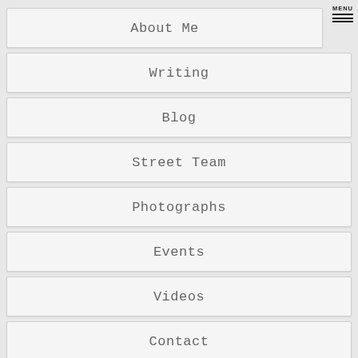About Me
Writing
Blog
Street Team
Photographs
Events
Videos
Contact